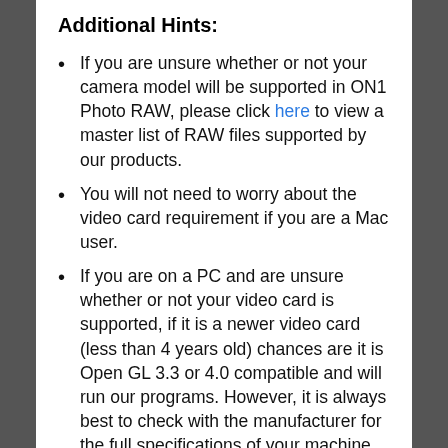Additional Hints:
If you are unsure whether or not your camera model will be supported in ON1 Photo RAW, please click here to view a master list of RAW files supported by our products.
You will not need to worry about the video card requirement if you are a Mac user.
If you are on a PC and are unsure whether or not your video card is supported, if it is a newer video card (less than 4 years old) chances are it is Open GL 3.3 or 4.0 compatible and will run our programs. However, it is always best to check with the manufacturer for the full specifications of your machine.
If you are looking to upgrade your machine, we recommend a PC that is tailored to the 'gaming community' [computer games]. The gaming machines work great for intense photo and video